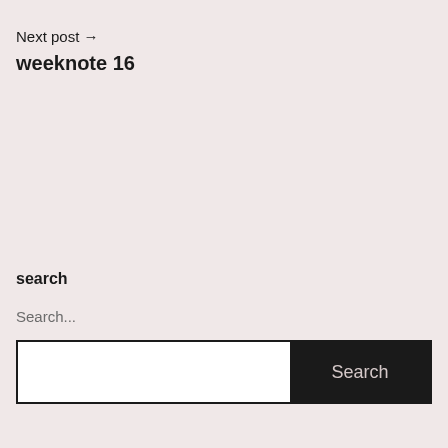Next post →
weeknote 16
search
Search...